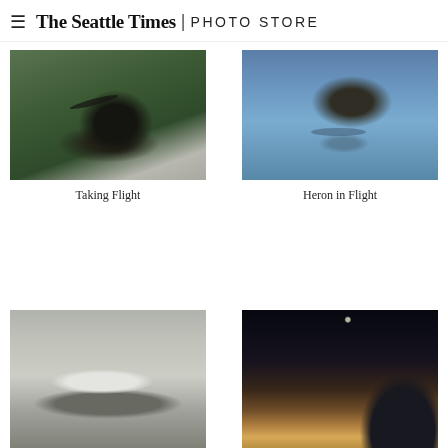≡ The Seattle Times | PHOTO STORE
[Figure (photo): Bald eagle taking flight from a pine tree branch, wings spread, with blurred evergreen trees in background]
Taking Flight
[Figure (photo): A great blue heron in flight over calm water, wings spread, with reflection visible below]
Heron in Flight
[Figure (photo): Large commercial aircraft taking off or landing in misty/foggy conditions with trees in background]
[Figure (photo): Aircraft wing silhouette against a dramatic sunset sky, dark silhouette with warm orange and gold horizon]